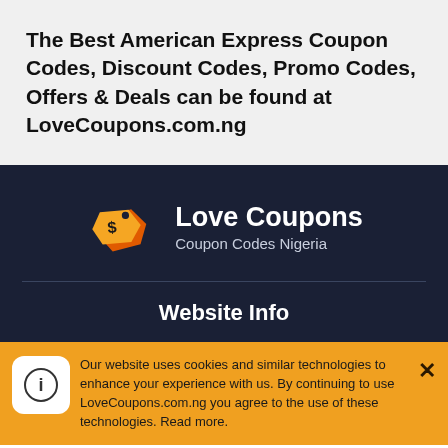The Best American Express Coupon Codes, Discount Codes, Promo Codes, Offers & Deals can be found at LoveCoupons.com.ng
[Figure (logo): Love Coupons logo with orange price tag icon showing dollar sign, with text 'Love Coupons' and 'Coupon Codes Nigeria']
Website Info
About Us
All Brands
Our website uses cookies and similar technologies to enhance your experience with us. By continuing to use LoveCoupons.com.ng you agree to the use of these technologies. Read more.